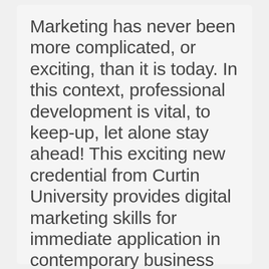Marketing has never been more complicated, or exciting, than it is today. In this context, professional development is vital, to keep-up, let alone stay ahead! This exciting new credential from Curtin University provides digital marketing skills for immediate application in contemporary business environments.
Nicole Cikarela , Head of Customer & Strategy, Marketforce